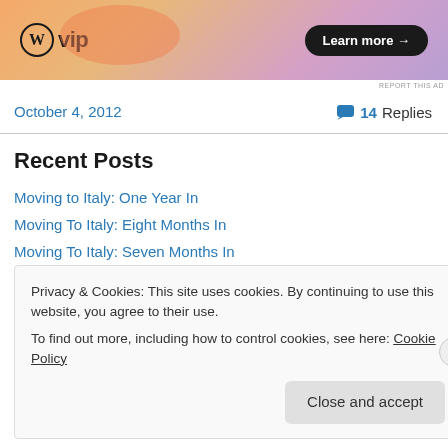[Figure (illustration): WordPress VIP advertisement banner with orange/purple gradient background, WordPress logo (W in circle) with 'vip' text, and 'Learn more →' button in black pill shape.]
REPORT THIS AD
October 4, 2012
💬 14 Replies
Recent Posts
Moving to Italy: One Year In
Moving To Italy: Eight Months In
Moving To Italy: Seven Months In
Privacy & Cookies: This site uses cookies. By continuing to use this website, you agree to their use.
To find out more, including how to control cookies, see here: Cookie Policy
Close and accept